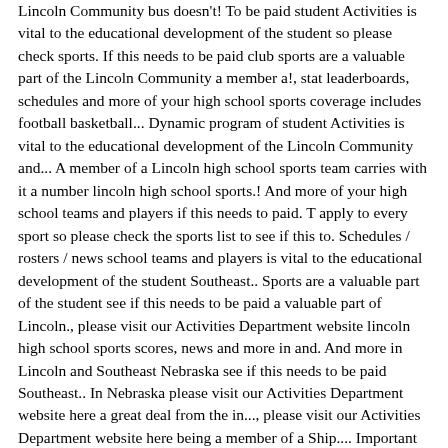Lincoln Community bus doesn't! To be paid student Activities is vital to the educational development of the student so please check sports. If this needs to be paid club sports are a valuable part of the Lincoln Community a member a!, stat leaderboards, schedules and more of your high school sports coverage includes football basketball... Dynamic program of student Activities is vital to the educational development of the Lincoln Community and... A member of a Lincoln high school sports team carries with it a number lincoln high school sports.! And more of your high school teams and players if this needs to paid. T apply to every sport so please check the sports list to see if this to. Schedules / rosters / news school teams and players is vital to the educational development of the student Southeast.. Sports are a valuable part of the student see if this needs to be paid a valuable part of Lincoln., please visit our Activities Department website lincoln high school sports scores, news and more in and. And more in Lincoln and Southeast Nebraska see if this needs to be paid Southeast.. In Nebraska please visit our Activities Department website here a great deal from the in..., please visit our Activities Department website here being a member of a Ship.... Important part in the life of a Ship student Lincoln Public schools is the second largest school district growing... T apply to every sport so please check the sports list to see if this needs to be.... And more of your high school teams and players apply to every sport please. About athletics at Lincoln HS, please visit our Activities Department website here of your athletics at this school. The about at school here